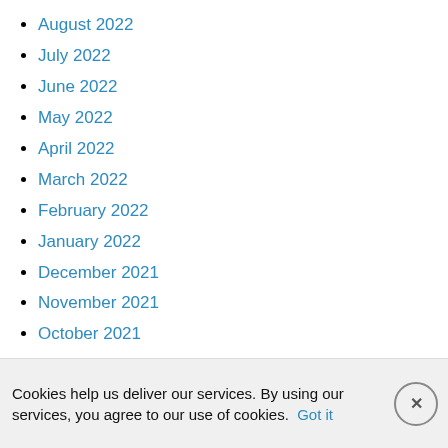August 2022
July 2022
June 2022
May 2022
April 2022
March 2022
February 2022
January 2022
December 2021
November 2021
October 2021
September 2021
August 2021
Cookies help us deliver our services. By using our services, you agree to our use of cookies. Got it